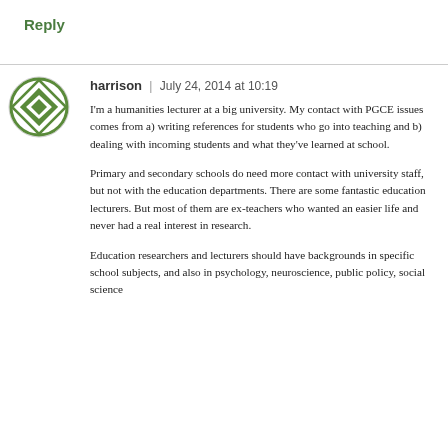Reply
harrison | July 24, 2014 at 10:19
I'm a humanities lecturer at a big university. My contact with PGCE issues comes from a) writing references for students who go into teaching and b) dealing with incoming students and what they've learned at school.
Primary and secondary schools do need more contact with university staff, but not with the education departments. There are some fantastic education lecturers. But most of them are ex-teachers who wanted an easier life and never had a real interest in research.
Education researchers and lecturers should have backgrounds in specific school subjects, and also in psychology, neuroscience, public policy, social science